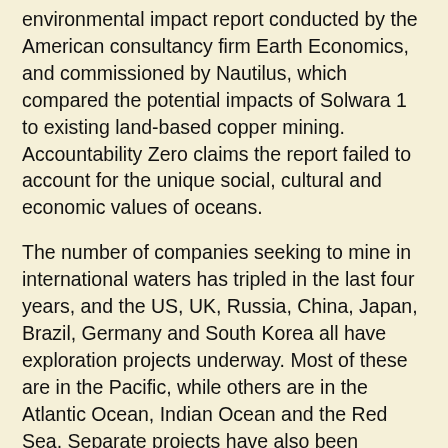environmental impact report conducted by the American consultancy firm Earth Economics, and commissioned by Nautilus, which compared the potential impacts of Solwara 1 to existing land-based copper mining. Accountability Zero claims the report failed to account for the unique social, cultural and economic values of oceans.
The number of companies seeking to mine in international waters has tripled in the last four years, and the US, UK, Russia, China, Japan, Brazil, Germany and South Korea all have exploration projects underway. Most of these are in the Pacific, while others are in the Atlantic Ocean, Indian Ocean and the Red Sea. Separate projects have also been proposed in the national waters of Fiji, the Cook Islands, Tonga and New Zealand. The process regulating DSM is distinct. Permits to explore for minerals are issued by governments within their territorial waters - 200 nautical miles from shore - or by the International Seabed Authority (ISA) in international waters. Formed in 1994, the ISA was established by the UN to regulate international waters, described as "common heritage of mankind" and not subject to direct claims by sovereign states. But a major criticism of